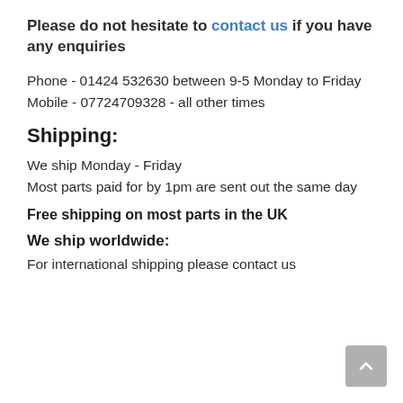Please do not hesitate to contact us if you have any enquiries
Phone - 01424 532630 between 9-5 Monday to Friday
Mobile - 07724709328 - all other times
Shipping:
We ship Monday - Friday
Most parts paid for by 1pm are sent out the same day
Free shipping on most parts in the UK
We ship worldwide:
For international shipping please contact us